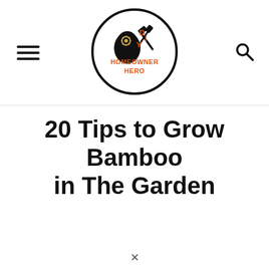DIY HOMEOWNER HERO
20 Tips to Grow Bamboo in The Garden